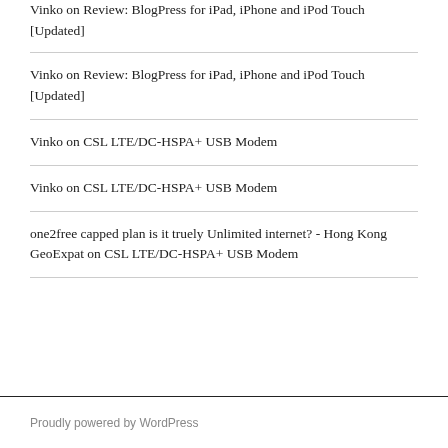Vinko on Review: BlogPress for iPad, iPhone and iPod Touch [Updated]
Vinko on Review: BlogPress for iPad, iPhone and iPod Touch [Updated]
Vinko on CSL LTE/DC-HSPA+ USB Modem
Vinko on CSL LTE/DC-HSPA+ USB Modem
one2free capped plan is it truely Unlimited internet? - Hong Kong GeoExpat on CSL LTE/DC-HSPA+ USB Modem
Proudly powered by WordPress